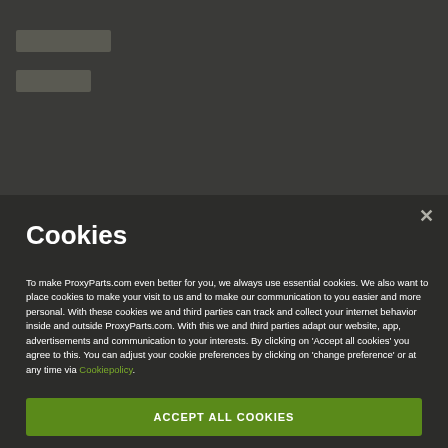[Figure (screenshot): Dark website header background with blurred/obscured navigation elements]
Cookies
To make ProxyParts.com even better for you, we always use essential cookies. We also want to place cookies to make your visit to us and to make our communication to you easier and more personal. With these cookies we and third parties can track and collect your internet behavior inside and outside ProxyParts.com. With this we and third parties adapt our website, app, advertisements and communication to your interests. By clicking on 'Accept all cookies' you agree to this. You can adjust your cookie preferences by clicking on 'change preference' or at any time via Cookiepolicy.
ACCEPT ALL COOKIES